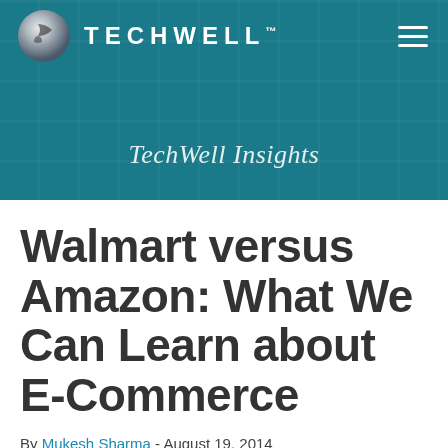[Figure (logo): TechWell logo with circular silver icon and white uppercase lettering, hamburger menu icon on right, on teal background with 'TechWell Insights' subtitle]
Walmart versus Amazon: What We Can Learn about E-Commerce
By Mukesh Sharma - August 19, 2014